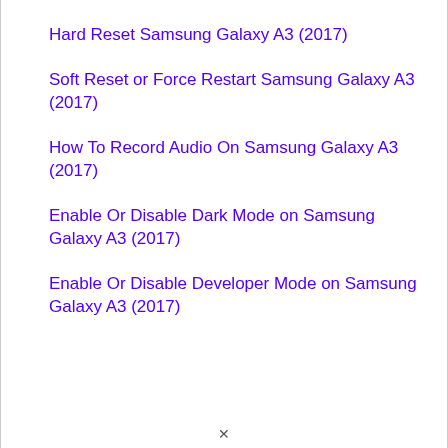Hard Reset Samsung Galaxy A3 (2017)
Soft Reset or Force Restart Samsung Galaxy A3 (2017)
How To Record Audio On Samsung Galaxy A3 (2017)
Enable Or Disable Dark Mode on Samsung Galaxy A3 (2017)
Enable Or Disable Developer Mode on Samsung Galaxy A3 (2017)